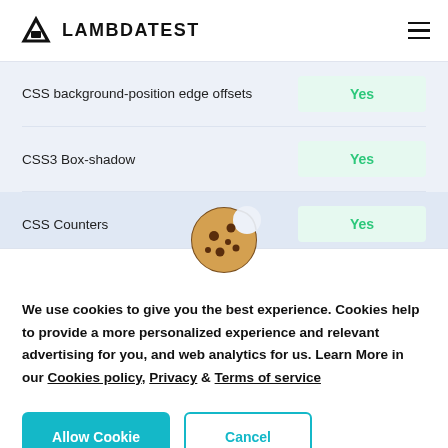LAMBDATEST
| Feature | Support |
| --- | --- |
| CSS background-position edge offsets | Yes |
| CSS3 Box-shadow | Yes |
| CSS Counters | Yes |
[Figure (illustration): Cookie emoji icon — round cookie with chocolate chip bites]
We use cookies to give you the best experience. Cookies help to provide a more personalized experience and relevant advertising for you, and web analytics for us. Learn More in our Cookies policy, Privacy & Terms of service
Allow Cookie | Cancel